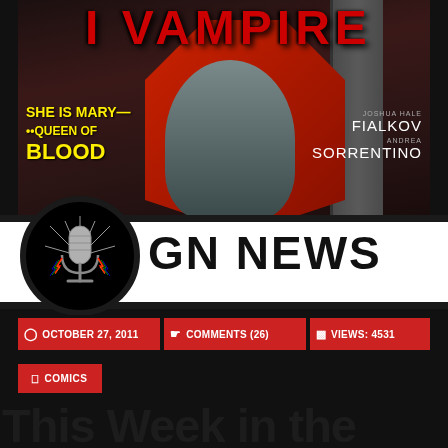[Figure (illustration): Comic book cover showing a female vampire character with red hair, grey skin, fangs and glowing red eyes. Text reads 'I Vampire', 'She is Mary -- Queen of Blood', authors Joshua Hale Fialkov and Andrea Sorrentino. Overlaid GN News logo banner with microphone icon and rainbow lightning bolts.]
OCTOBER 27, 2011
COMMENTS (26)
VIEWS: 4531
COMICS
This Week in the New